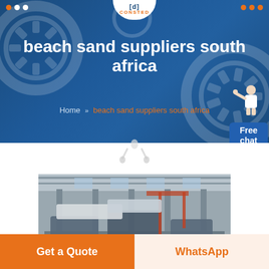CONSTED
beach sand suppliers south africa
Home » beach sand suppliers south africa
[Figure (photo): Industrial factory interior showing heavy machinery and equipment under a large roof structure]
Get a Quote
WhatsApp